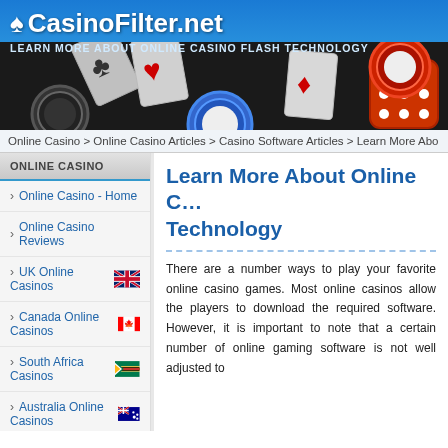CasinoFilter.net — LEARN MORE ABOUT ONLINE CASINO FLASH TECHNOLOGY
[Figure (illustration): Casino banner image showing playing cards, poker chips (black, blue, red/white), and a red dice on a dark background]
Online Casino > Online Casino Articles > Casino Software Articles > Learn More Abo
ONLINE CASINO
Online Casino - Home
Online Casino Reviews
UK Online Casinos
Canada Online Casinos
South Africa Casinos
Australia Online Casinos
Learn More About Online C... Technology
There are a number ways to play your favorite online casino games. Most online casinos allow the players to download the required software. However, it is important to note that a certain number of online gaming software is not well adjusted to